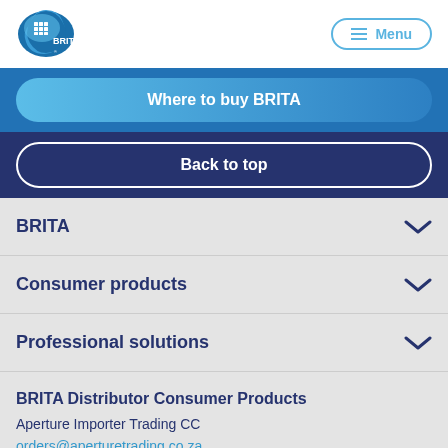[Figure (logo): BRITA logo — blue droplet shape with white grid/filter icon and BRITA text]
Menu
Where to buy BRITA
Back to top
BRITA
Consumer products
Professional solutions
BRITA Distributor Consumer Products
Aperture Importer Trading CC
orders@aperturetrading.co.za